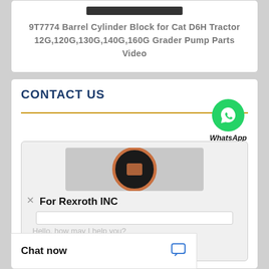9T7774 Barrel Cylinder Block for Cat D6H Tractor 12G,120G,130G,140G,160G Grader Pump Parts Video
CONTACT US
[Figure (screenshot): WhatsApp Online button with green phone bubble icon]
[Figure (logo): For Rexroth INC chat widget with company logo circle]
Hello, how may I help you?
* Email
Chat now